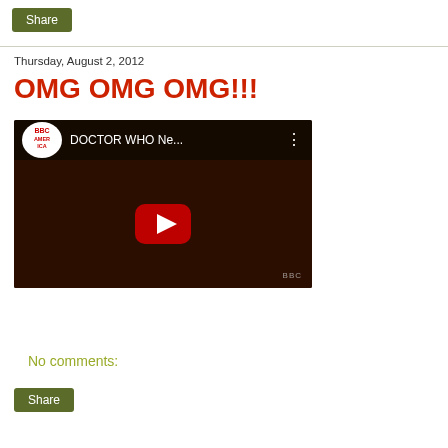Share
Thursday, August 2, 2012
OMG OMG OMG!!!
[Figure (screenshot): YouTube video embed thumbnail showing BBC America Doctor Who video with dark background, play button, and BBC America logo in top left. Video title: DOCTOR WHO Ne...]
No comments:
Share